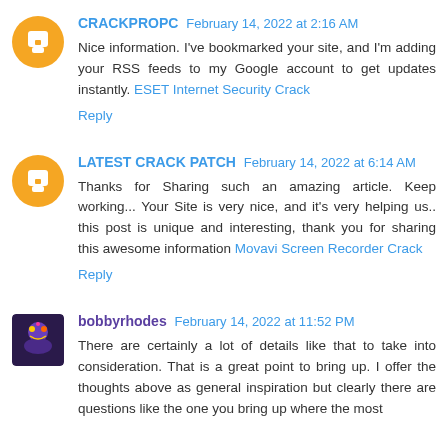CRACKPROPC February 14, 2022 at 2:16 AM
Nice information. I've bookmarked your site, and I'm adding your RSS feeds to my Google account to get updates instantly. ESET Internet Security Crack
Reply
LATEST CRACK PATCH February 14, 2022 at 6:14 AM
Thanks for Sharing such an amazing article. Keep working... Your Site is very nice, and it's very helping us.. this post is unique and interesting, thank you for sharing this awesome information Movavi Screen Recorder Crack
Reply
bobbyrhodes February 14, 2022 at 11:52 PM
There are certainly a lot of details like that to take into consideration. That is a great point to bring up. I offer the thoughts above as general inspiration but clearly there are questions like the one you bring up where the most